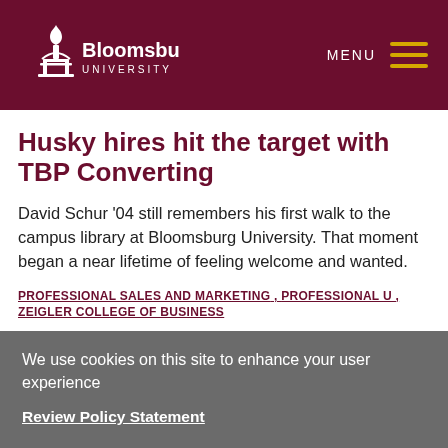Bloomsburg University — MENU
Husky hires hit the target with TBP Converting
David Schur '04 still remembers his first walk to the campus library at Bloomsburg University. That moment began a near lifetime of feeling welcome and wanted.
PROFESSIONAL SALES AND MARKETING , PROFESSIONAL U , ZEIGLER COLLEGE OF BUSINESS
We use cookies on this site to enhance your user experience
Review Policy Statement
OK, I Understand